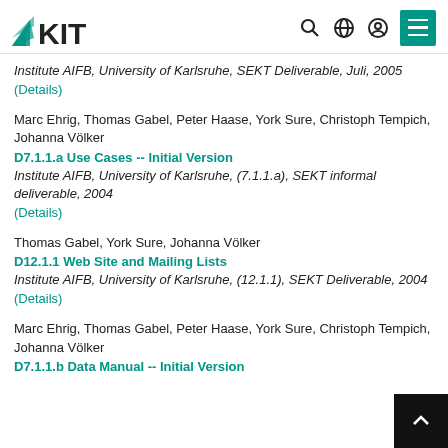KIT logo and navigation header
Institute AIFB, University of Karlsruhe, SEKT Deliverable, Juli, 2005
(Details)
Marc Ehrig, Thomas Gabel, Peter Haase, York Sure, Christoph Tempich, Johanna Völker
D7.1.1.a Use Cases -- Initial Version
Institute AIFB, University of Karlsruhe, (7.1.1.a), SEKT informal deliverable, 2004
(Details)
Thomas Gabel, York Sure, Johanna Völker
D12.1.1 Web Site and Mailing Lists
Institute AIFB, University of Karlsruhe, (12.1.1), SEKT Deliverable, 2004
(Details)
Marc Ehrig, Thomas Gabel, Peter Haase, York Sure, Christoph Tempich, Johanna Völker
D7.1.1.b Data Manual -- Initial Version